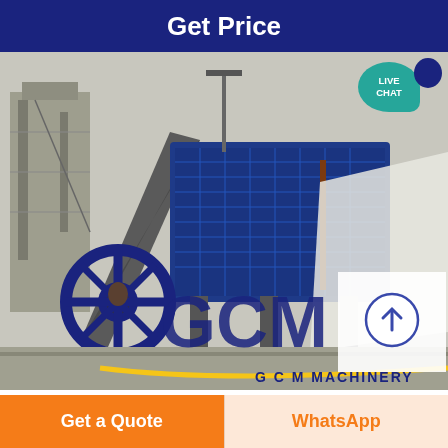Get Price
[Figure (photo): Industrial quarry machinery — large screen/conveyor equipment with GCM Machinery branding overlay, GCM logo visible on the equipment, yellow arc and 'GCM MACHINERY' text at bottom of image]
Indonesia Quarry Company
Get a Quote
WhatsApp